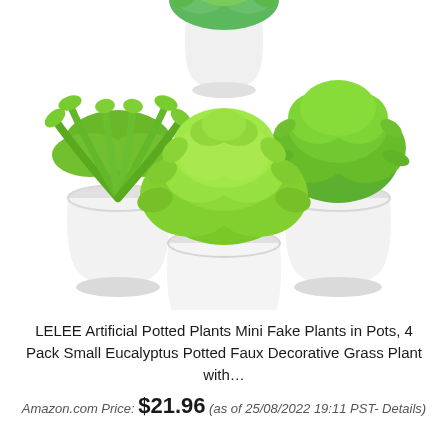[Figure (photo): Product photo showing four small artificial potted plants with green foliage in white ceramic-style pots, arranged in a group composition against a white background.]
LELEE Artificial Potted Plants Mini Fake Plants in Pots, 4 Pack Small Eucalyptus Potted Faux Decorative Grass Plant with…
Amazon.com Price: $21.96 (as of 25/08/2022 19:11 PST- Details)